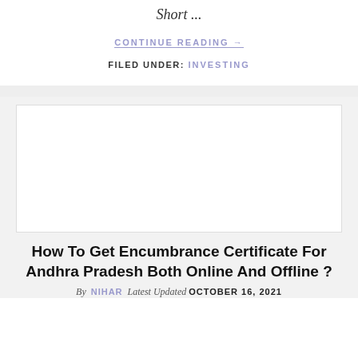Short ...
CONTINUE READING →
FILED UNDER: INVESTING
[Figure (other): White rectangle image placeholder for article about Encumbrance Certificate for Andhra Pradesh]
How To Get Encumbrance Certificate For Andhra Pradesh Both Online And Offline ?
By NIHAR Latest Updated OCTOBER 16, 2021